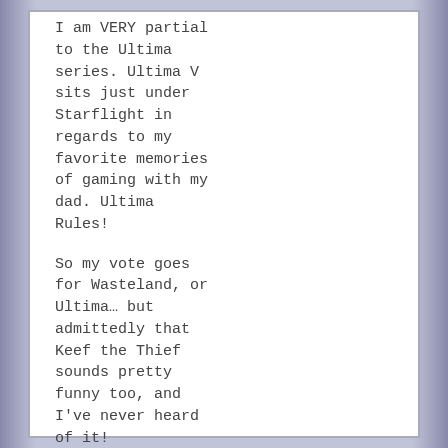I am VERY partial to the Ultima series. Ultima V sits just under Starflight in regards to my favorite memories of gaming with my dad. Ultima Rules!

So my vote goes for Wasteland, or Ultima… but admittedly that Keef the Thief sounds pretty funny too, and I've never heard of it!